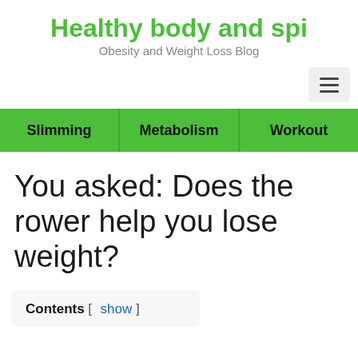Healthy body and spi
Obesity and Weight Loss Blog
Slimming   Metabolism   Workout
You asked: Does the rower help you lose weight?
Contents [ show ]